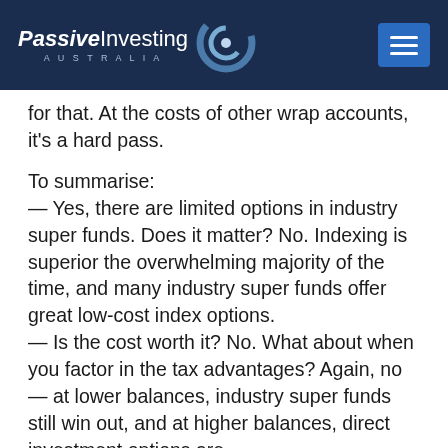Passive Investing Australia
for that. At the costs of other wrap accounts, it's a hard pass.
To summarise:
— Yes, there are limited options in industry super funds. Does it matter? No. Indexing is superior the overwhelming majority of the time, and many industry super funds offer great low-cost index options.
— Is the cost worth it? No. What about when you factor in the tax advantages? Again, no — at lower balances, industry super funds still win out, and at higher balances, direct investment options are